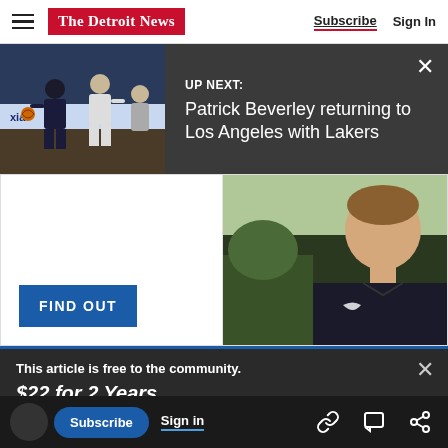The Detroit News — Subscribe | Sign In
UP NEXT: Patrick Beverley returning to Los Angeles with Lakers
[Figure (photo): Two basketball players on a court, dark uniform vs light uniform, ad board visible in background]
[Figure (photo): Advertisement showing a man in a Nike jacket outdoors with a FIND OUT button]
This article is free to the community. $22 for 2 Years. Subscribe now
...ealing on my decision, Dally said before... ...t October I was...
Subscribe | Sign in | Link | Comment | Share